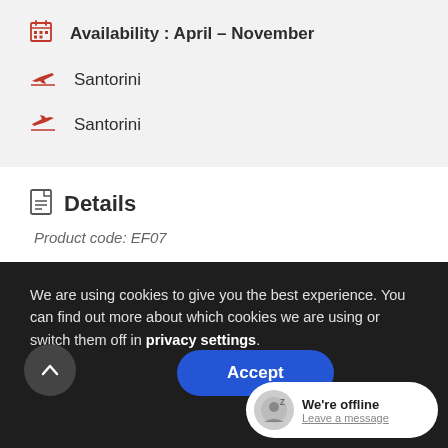Availability : April – November
Santorini (departure)
Santorini (arrival)
Details
Product code: EF07
We are using cookies to give you the best experience. You can find out more about which cookies we are using or switch them off in privacy settings.